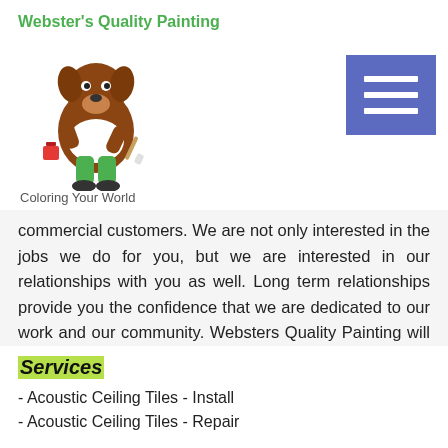[Figure (logo): Webster's Quality Painting logo with cartoon dog mascot holding a paintbrush, green text title and 'Coloring Your World' tagline]
commercial customers. We are not only interested in the jobs we do for you, but we are interested in our relationships with you as well. Long term relationships provide you the confidence that we are dedicated to our work and our community. Websters Quality Painting will always provide you with a superior job with the greatest outcome when it comes to your Acoustic Ceiling Tiles Install needs.
Services
- Acoustic Ceiling Tiles - Install
- Acoustic Ceiling Tiles - Repair